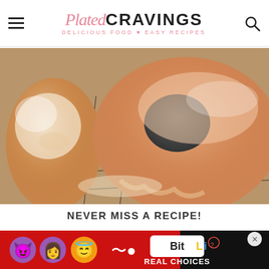Plated CRAVINGS — DELICIOUS FOOD ♥ EASY RECIPES
[Figure (photo): Close-up photo of glazed donuts on a wire cooling rack. A large glazed donut is in the center-right, and a powdered sugar donut is visible on the left. The donuts are golden-brown with a shiny glaze, sitting on a black wire rack.]
NEVER MISS A RECIPE!
PINTEREST / FACEBOOK / INSTAGRAM / TWITT
[Figure (screenshot): Advertisement banner for BitLife game app. Features emoji characters (devil, woman, angel) on a red background with 'BitLife' logo and 'REAL CHOICES' text. Has an X close button on the right.]